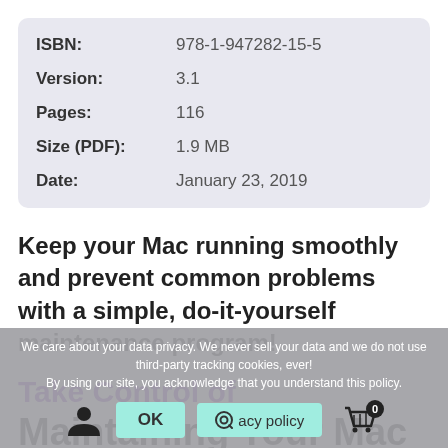| ISBN: | 978-1-947282-15-5 |
| Version: | 3.1 |
| Pages: | 116 |
| Size (PDF): | 1.9 MB |
| Date: | January 23, 2019 |
Keep your Mac running smoothly and prevent common problems with a simple, do-it-yourself maintenance program!
Take Control of
Maintaining Your Mac
We care about your data privacy. We never sell your data and we do not use third-party tracking cookies, ever! By using our site, you acknowledge that you understand this policy.